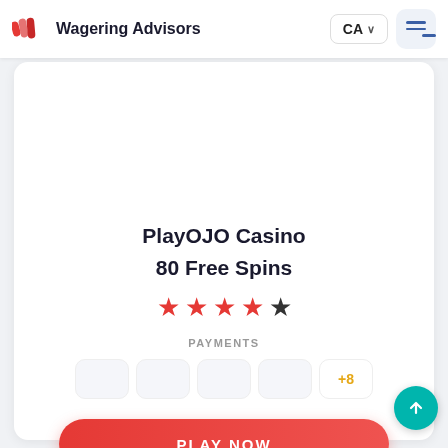Wagering Advisors — CA
PlayOJO Casino
80 Free Spins
★★★★☆ (4 out of 5 stars)
PAYMENTS +8
PLAY NOW
Review